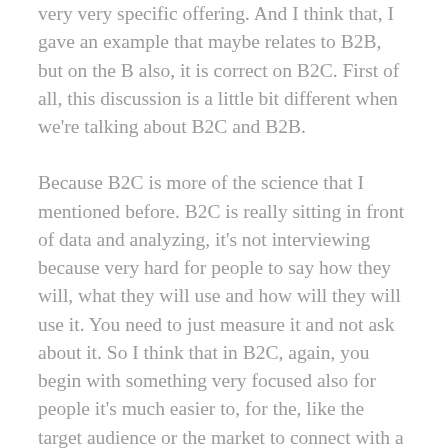very very specific offering. And I think that, I gave an example that maybe relates to B2B, but on the B also, it is correct on B2C. First of all, this discussion is a little bit different when we're talking about B2C and B2B.
Because B2C is more of the science that I mentioned before. B2C is really sitting in front of data and analyzing, it's not interviewing because very hard for people to say how they will, what they will use and how will they will use it. You need to just measure it and not ask about it. So I think that in B2C, again, you begin with something very focused also for people it's much easier to, for the, like the target audience or the market to connect with a simple message.
A hundred, your, your offering is solving a hundred